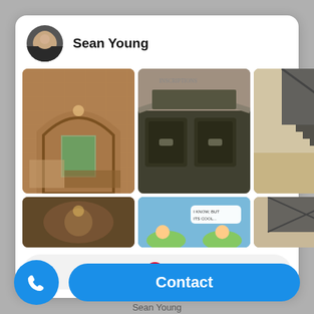[Figure (screenshot): Pinterest profile card for Sean Young showing a grid of interior design and other images, with a Follow On Pinterest button. Below the card are phone and Contact buttons.]
Sean Young
Follow On Pinterest
Contact
Sean Young